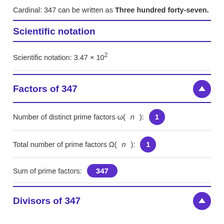Cardinal: 347 can be written as Three hundred forty-seven.
Scientific notation
Scientific notation: 3.47 × 10²
Factors of 347
Number of distinct prime factors ω(n): 1
Total number of prime factors Ω(n): 1
Sum of prime factors: 347
Divisors of 347